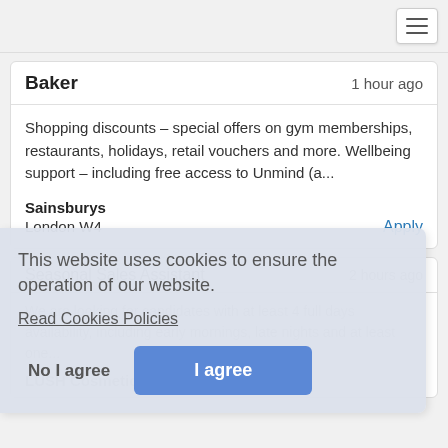Baker
1 hour ago
Shopping discounts – special offers on gym memberships, restaurants, holidays, retail vouchers and more. Wellbeing support – including free access to Unmind (a...
Sainsburys
London W4
Apply
Seasonal Sales Assistant
2 hours ago
We are looking for candidates with at least 4 full days availability, including early mornings, late nights and at least one...
LUSH Cosmetics
This website uses cookies to ensure the operation of our website.
Read Cookies Policies
No I agree
I agree